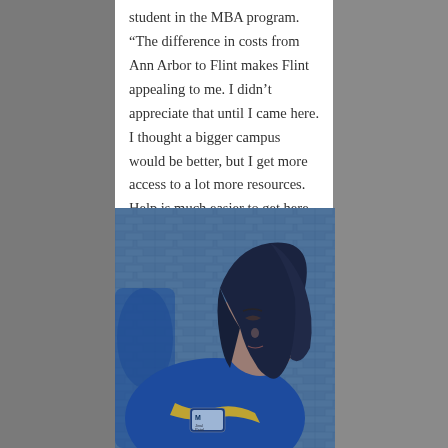student in the MBA program. “The difference in costs from Ann Arbor to Flint makes Flint appealing to me. I didn’t appreciate that until I came here. I thought a bigger campus would be better, but I get more access to a lot more resources. Help is much easier to get here. There are so many more opportunities that I was exposed to here that I wouldn’t have had on a larger campus.”
[Figure (photo): A young woman wearing a blue University of Michigan shirt with a name tag, looking downward, against a brick wall background. Photo has a blue tint.]